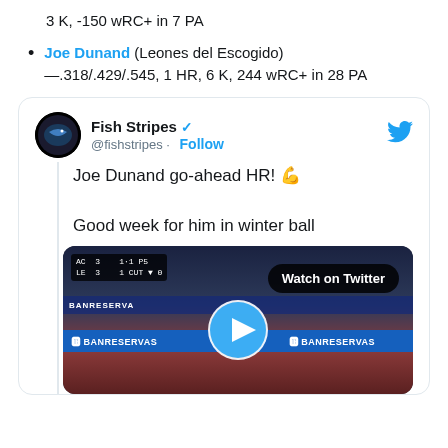3 K, -150 wRC+ in 7 PA
Joe Dunand (Leones del Escogido) —.318/.429/.545, 1 HR, 6 K, 244 wRC+ in 28 PA
[Figure (screenshot): Embedded tweet from @fishstripes (Fish Stripes, verified) with text 'Joe Dunand go-ahead HR! 💪 Good week for him in winter ball' and a video thumbnail showing a baseball game with scoreboard AC 3 LE 3, a Watch on Twitter badge, and a play button. BANRESERVAS advertising visible.]